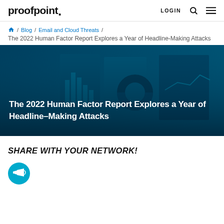proofpoint. LOGIN [search] [menu]
🏠 / Blog / Email and Cloud Threats / The 2022 Human Factor Report Explores a Year of Headline-Making Attacks
[Figure (photo): Dark teal/blue toned hero image showing Proofpoint report pages with charts and graphs. Bold white text overlay reads: The 2022 Human Factor Report Explores a Year of Headline-Making Attacks]
SHARE WITH YOUR NETWORK!
[Figure (illustration): Teal circle icon with a megaphone/bullhorn graphic inside]